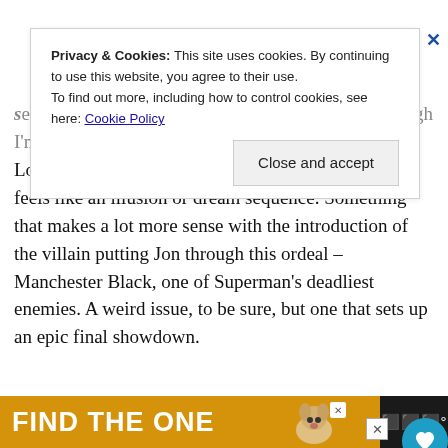serious, but I can't imagine it's going to stick. Although I'm guessing Lois could rock the gun-leg from Planet Terror, this feels like an illusion or dream sequence. Something that makes a lot more sense with the introduction of the villain putting Jon through this ordeal – Manchester Black, one of Superman's deadliest enemies. A weird issue, to be sure, but one that sets up an epic final showdown.
Privacy & Cookies: This site uses cookies. By continuing to use this website, you agree to their use. To find out more, including how to control cookies, see here: Cookie Policy
[Figure (screenshot): Close and accept button for cookie consent banner]
[Figure (photo): Advertisement photo showing a young boy's face in a classroom setting]
[Figure (infographic): Yellow advertisement banner reading FIND THE ONE with a dog image and close X button]
[Figure (infographic): Right-side social media buttons: heart/favorite button in blue, share button in grey]